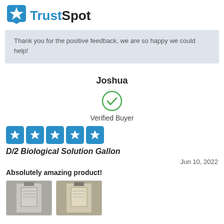[Figure (logo): TrustSpot logo with blue star icon and TrustSpot text]
Thank you for the positive feedback, we are so happy we could help!
Joshua
[Figure (illustration): Green circle with checkmark indicating Verified Buyer]
Verified Buyer
[Figure (illustration): 5 blue star rating boxes]
D/2 Biological Solution Gallon
Jun 10, 2022
Absolutely amazing product!
[Figure (photo): Two product photos showing stone/gravestone before and after treatment]